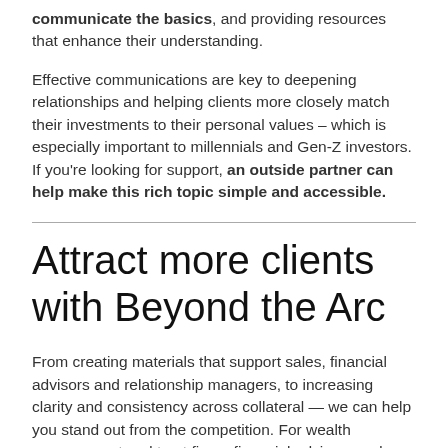communicate the basics, and providing resources that enhance their understanding.
Effective communications are key to deepening relationships and helping clients more closely match their investments to their personal values – which is especially important to millennials and Gen-Z investors. If you're looking for support, an outside partner can help make this rich topic simple and accessible.
Attract more clients with Beyond the Arc
From creating materials that support sales, financial advisors and relationship managers, to increasing clarity and consistency across collateral — we can help you stand out from the competition. For wealth management and trust firms, financial advisors and investment managers,